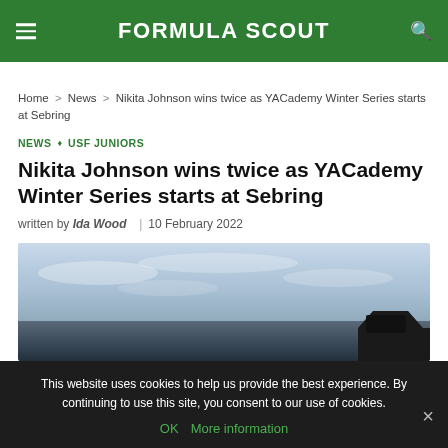FORMULA SCOUT
Home > News > Nikita Johnson wins twice as YACademy Winter Series starts at Sebring
NEWS ◇ USF JUNIORS
Nikita Johnson wins twice as YACademy Winter Series starts at Sebring
written by Ida Wood | 10 February 2022
[Figure (photo): Outdoor racing scene with cloudy sky and dark car silhouette on the right side]
This website uses cookies to help us provide the best experience. By continuing to use this site, you consent to our use of cookies.
OK  More information